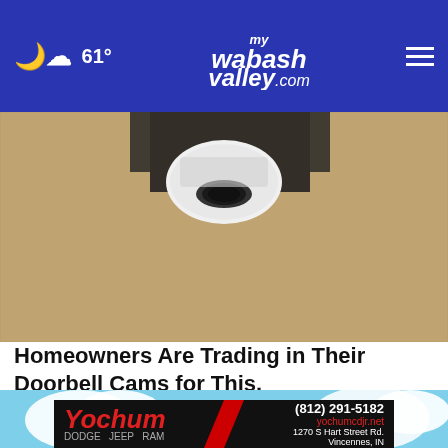☁ 61° | myWabashValley.com
[Figure (photo): Close-up sepia-toned photo of a security camera mounted on a rough textured wall, white dome camera body visible]
Homeowners Are Trading in Their Doorbell Cams for This.
Keilini.com
[Figure (photo): Advertisement banner showing Yochum Dodge Jeep Ram dealership ad with phone number (812) 291-5182, website yochumcdjr.net, and address 1270 S Hart Street Rd., Vincennes, IN on dark background with red diagonal stripe]